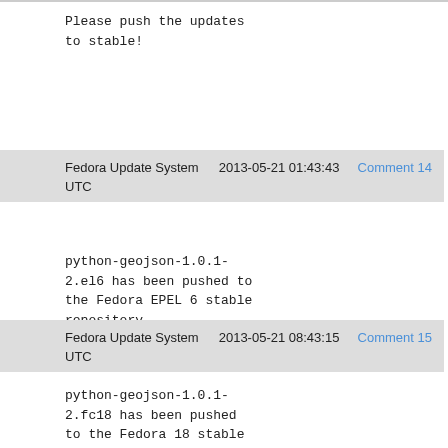Please push the updates
to stable!
Fedora Update System   2013-05-21 01:43:43   Comment 14
UTC
python-geojson-1.0.1-
2.el6 has been pushed to
the Fedora EPEL 6 stable
repository.
Fedora Update System   2013-05-21 08:43:15   Comment 15
UTC
python-geojson-1.0.1-
2.fc18 has been pushed
to the Fedora 18 stable
repository.